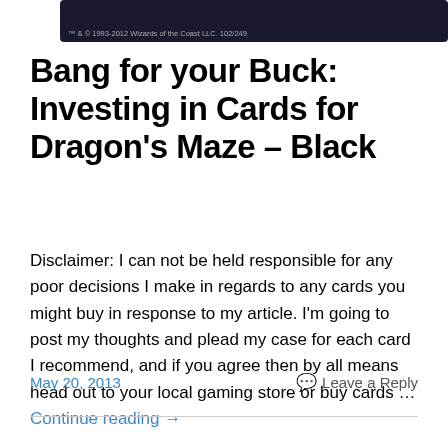[Figure (photo): Dark fantasy card game image with copyright text at bottom: ™ & © 1993-2012 Wizards of the Coast LLC. 102/249]
Bang for your Buck: Investing in Cards for Dragon's Maze – Black
Disclaimer: I can not be held responsible for any poor decisions I make in regards to any cards you might buy in response to my article. I'm going to post my thoughts and plead my case for each card I recommend, and if you agree then by all means head out to your local gaming store or buy cards … Continue reading →
May 20, 2013
Leave a Reply
[Figure (photo): Magic: The Gathering card image showing 'Silverblade Paladin' with mana cost 1WW]